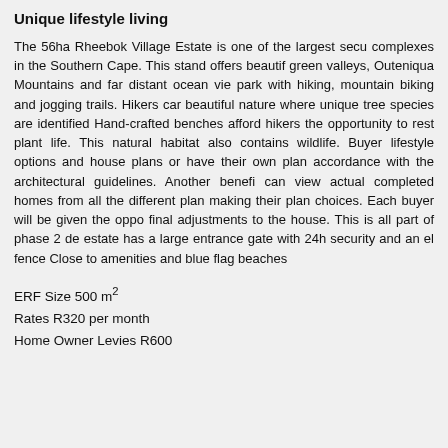Unique lifestyle living
The 56ha Rheebok Village Estate is one of the largest secu complexes in the Southern Cape. This stand offers beautif green valleys, Outeniqua Mountains and far distant ocean vie park with hiking, mountain biking and jogging trails. Hikers car beautiful nature where unique tree species are identified Hand-crafted benches afford hikers the opportunity to rest plant life. This natural habitat also contains wildlife. Buyer lifestyle options and house plans or have their own plan accordance with the architectural guidelines. Another benefi can view actual completed homes from all the different plan making their plan choices. Each buyer will be given the oppo final adjustments to the house. This is all part of phase 2 de estate has a large entrance gate with 24h security and an el fence Close to amenities and blue flag beaches
ERF Size 500 m²
Rates R320 per month
Home Owner Levies R600